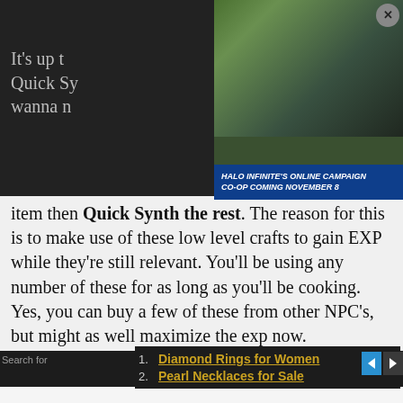[Figure (screenshot): Ad overlay for Halo Infinite's Online Campaign Co-op Coming November 8, showing armored soldiers with weapons against a forest/combat background. Has a close (X) button in top right corner.]
It's up t… o this: Quick Sy… o you wanna n… of each item then Quick Synth the rest. The reason for this is to make use of these low level crafts to gain EXP while they're still relevant. You'll be using any number of these for as long as you'll be cooking. Yes, you can buy a few of these from other NPC's, but might as well maximize the exp now.
1. Diamond Rings for Women
2. Pearl Necklaces for Sale